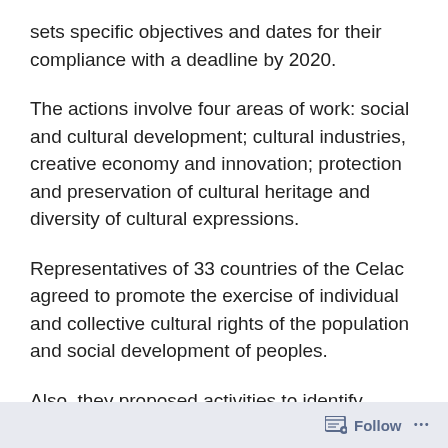sets specific objectives and dates for their compliance with a deadline by 2020.
The actions involve four areas of work: social and cultural development; cultural industries, creative economy and innovation; protection and preservation of cultural heritage and diversity of cultural expressions.
Representatives of 33 countries of the Celac agreed to promote the exercise of individual and collective cultural rights of the population and social development of peoples.
Also, they proposed activities to identify mechanisms of cultural cooperation on the promotion and
Follow ...